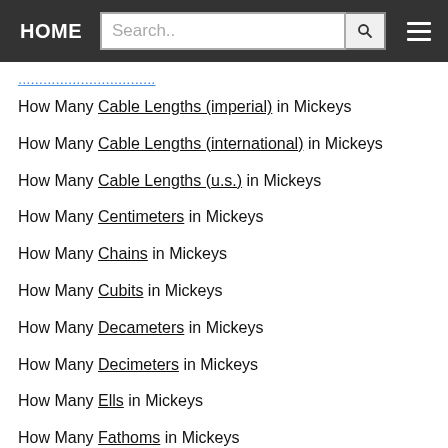HOME | Search..
How Many Cable Lengths (imperial) in Mickeys
How Many Cable Lengths (international) in Mickeys
How Many Cable Lengths (u.s.) in Mickeys
How Many Centimeters in Mickeys
How Many Chains in Mickeys
How Many Cubits in Mickeys
How Many Decameters in Mickeys
How Many Decimeters in Mickeys
How Many Ells in Mickeys
How Many Fathoms in Mickeys